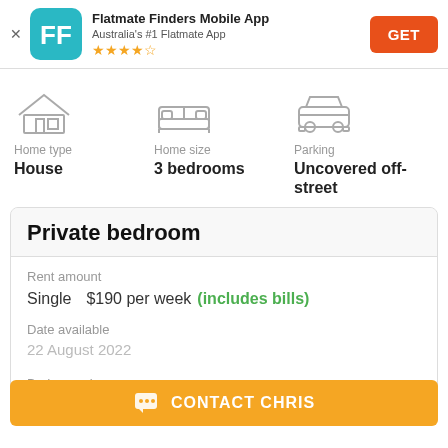[Figure (screenshot): App banner for Flatmate Finders Mobile App with teal FF logo icon, star rating, and orange GET button]
[Figure (infographic): Three icons representing Home type (house icon), Home size (bed icon), and Parking (car icon) with their respective values]
Home type
House
Home size
3 bedrooms
Parking
Uncovered off-street
Private bedroom
Rent amount
Single  $190 per week (includes bills)
Date available
22 August 2022
Bedroom size